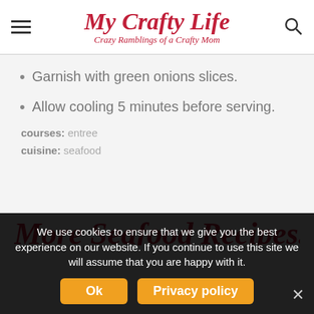My Crafty Life — Crazy Ramblings of a Crafty Mom
Garnish with green onions slices.
Allow cooling 5 minutes before serving.
courses: entree
cuisine: seafood
We use cookies to ensure that we give you the best experience on our website. If you continue to use this site we will assume that you are happy with it.